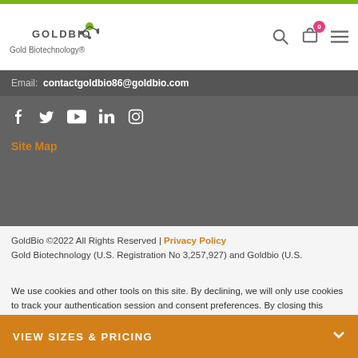GOLDBIO | Gold Biotechnology®
Email: contactgoldbio86@goldbio.com
[Figure (other): Social media icons: Facebook, Twitter, YouTube, LinkedIn, Instagram]
Site Map
GoldBio ©2022 All Rights Reserved | Privacy Policy
Gold Biotechnology (U.S. Registration No 3,257,927) and Goldbio (U.S.
We use cookies and other tools on this site. By declining, we will only use cookies to track your authentication session and consent preferences. By closing this message, you consent to our privacy policy.
ACCEPT AND CLOSE
VIEW SIZES & PRICING